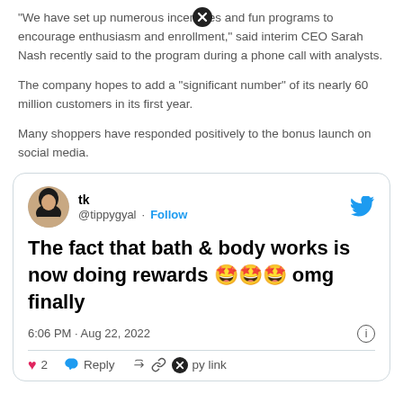"We have set up numerous incentives and fun programs to encourage enthusiasm and enrollment," said interim CEO Sarah Nash recently said to the program during a phone call with analysts.
The company hopes to add a "significant number" of its nearly 60 million customers in its first year.
Many shoppers have responded positively to the bonus launch on social media.
[Figure (screenshot): Embedded tweet from @tippygyal (tk): 'The fact that bath & body works is now doing rewards 🤩🤩🤩 omg finally' posted at 6:06 PM · Aug 22, 2022 with 2 likes, Reply, and Copy link actions.]